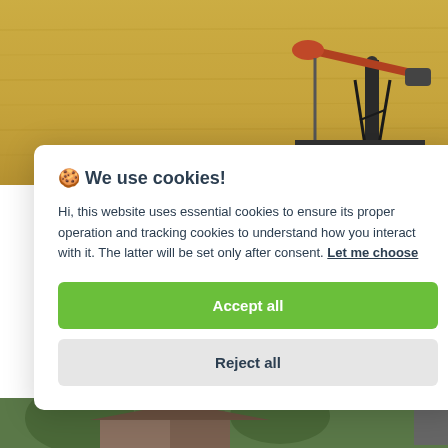[Figure (photo): Oil pump jack / pumpjack in a dry golden field, photographed against a warm background. Partial view on top portion of page.]
🍪 We use cookies!
Hi, this website uses essential cookies to ensure its proper operation and tracking cookies to understand how you interact with it. The latter will be set only after consent. Let me choose
Accept all
Reject all
[Figure (photo): Partial view of a building with trees, visible at very bottom of page.]